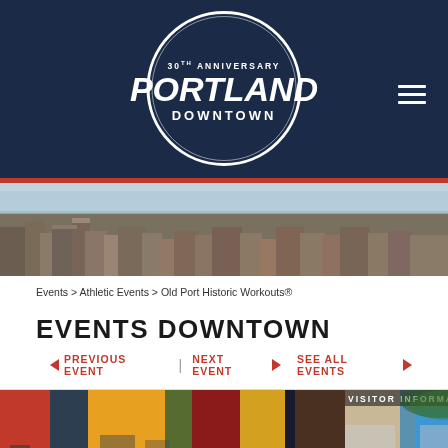[Figure (logo): Portland Downtown 30th Anniversary circular logo on dark navy background with red stripe]
[Figure (photo): Aerial panoramic photo of Portland Maine downtown with harbor and buildings]
Events > Athletic Events > Old Port Historic Workouts®
EVENTS DOWNTOWN
◄ PREVIOUS EVENT | NEXT EVENT ► SEE ALL EVENTS ►
[Figure (photo): Colorful building exterior with visitor information sign]